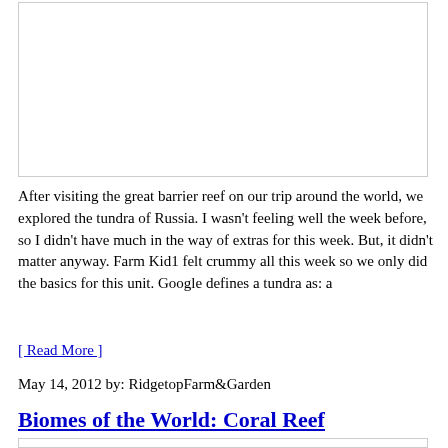[Figure (other): Blank white image box with light border]
After visiting the great barrier reef on our trip around the world, we explored the tundra of Russia. I wasn't feeling well the week before, so I didn't have much in the way of extras for this week. But, it didn't matter anyway. Farm Kid1 felt crummy all this week so we only did the basics for this unit. Google defines a tundra as: a
[ Read More ]
May 14, 2012 by: RidgetopFarm&Garden
Biomes of the World: Coral Reef